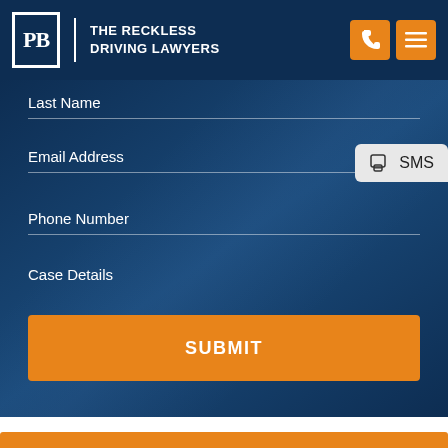THE RECKLESS DRIVING LAWYERS
Last Name
Email Address
SMS
Phone Number
Case Details
SUBMIT